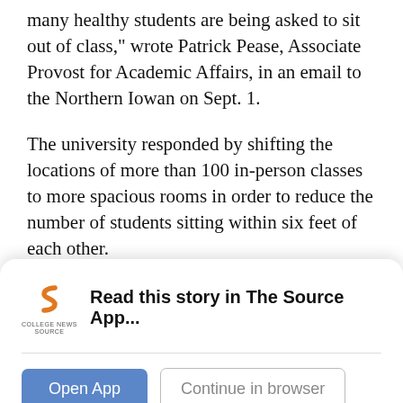many healthy students are being asked to sit out of class," wrote Patrick Pease, Associate Provost for Academic Affairs, in an email to the Northern Iowan on Sept. 1.
The university responded by shifting the locations of more than 100 in-person classes to more spacious rooms in order to reduce the number of students sitting within six feet of each other.
At that time, the DOR was reporting 83 students in quarantine. In the subsequent weeks, that number has dropped significantly. From Sept. 21-27, only 20 students were quarantining in DOR facilities, although
[Figure (logo): College News Source app logo — stylized 'S' in orange/grey]
Read this story in The Source App...
Open App
Continue in browser